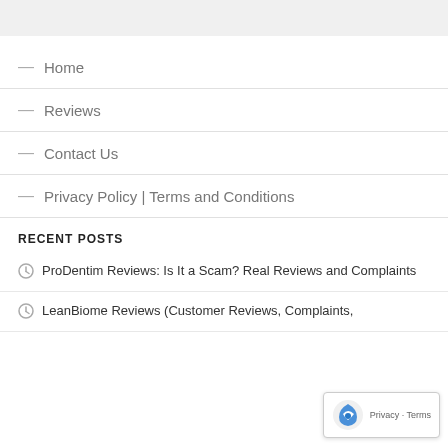— Home
— Reviews
— Contact Us
— Privacy Policy | Terms and Conditions
RECENT POSTS
ProDentim Reviews: Is It a Scam? Real Reviews and Complaints
LeanBiome Reviews (Customer Reviews, Complaints, Is it a Scam?